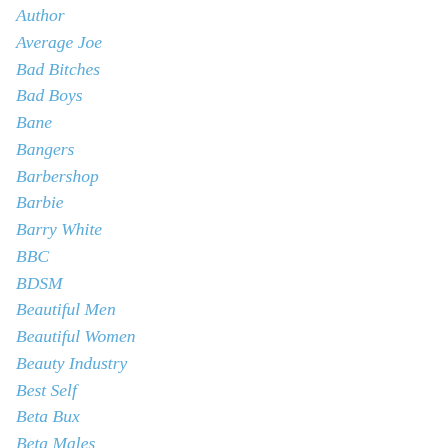Author
Average Joe
Bad Bitches
Bad Boys
Bane
Bangers
Barbershop
Barbie
Barry White
BBC
BDSM
Beautiful Men
Beautiful Women
Beauty Industry
Best Self
Beta Bux
Beta Males
Bible
Big Handsome Men
Billy Dee Williams
Bimbo